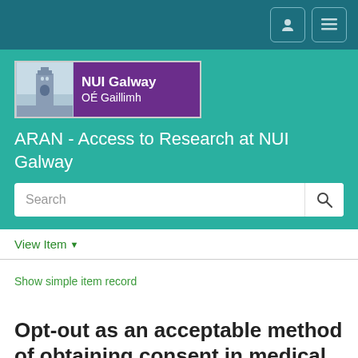[Figure (screenshot): NUI Galway ARAN repository webpage header with logo, search bar, navigation, and article title]
ARAN - Access to Research at NUI Galway
Show simple item record
Opt-out as an acceptable method of obtaining consent in medical research: a short report